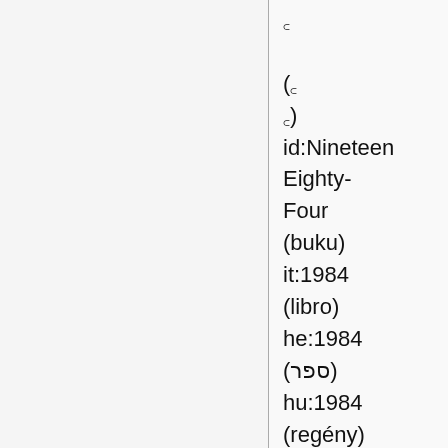꜀
(꜀
꜀)
id:Nineteen Eighty-Four (buku)
it:1984 (libro)
he:1984 (ספר)
hu:1984 (regény)
nl:1984 (boek)
ja:1984